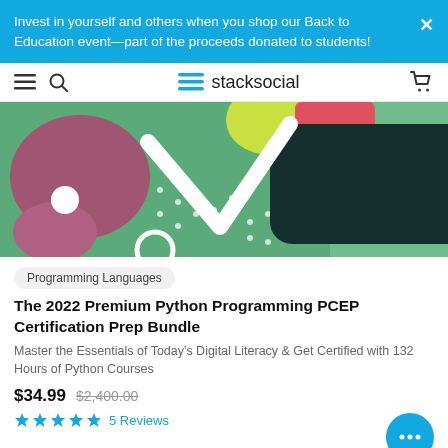Invest in yourself and others when you shop our Back to Education event—part of the proceeds donated to students!
stacksocial
[Figure (illustration): Product banner image with colorful abstract design on green background featuring dark rounded rectangle, white V shape, mauve/pink circles, dots, and red bar]
Programming Languages
The 2022 Premium Python Programming PCEP Certification Prep Bundle
Master the Essentials of Today's Digital Literacy & Get Certified with 132 Hours of Python Courses
$34.99  $2,400.00
5 Reviews